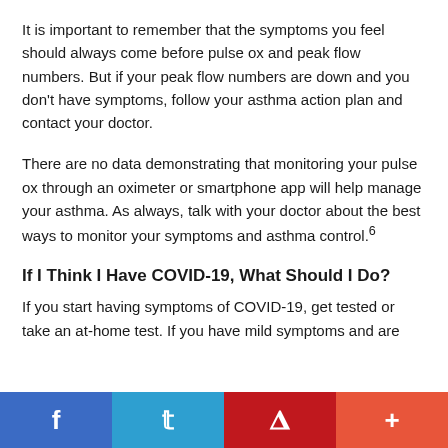It is important to remember that the symptoms you feel should always come before pulse ox and peak flow numbers. But if your peak flow numbers are down and you don't have symptoms, follow your asthma action plan and contact your doctor.
There are no data demonstrating that monitoring your pulse ox through an oximeter or smartphone app will help manage your asthma. As always, talk with your doctor about the best ways to monitor your symptoms and asthma control.6
If I Think I Have COVID-19, What Should I Do?
If you start having symptoms of COVID-19, get tested or take an at-home test. If you have mild symptoms and are